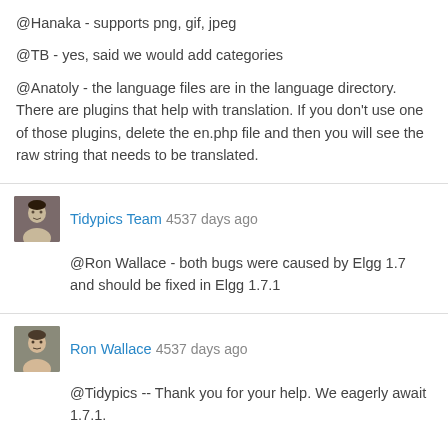@Hanaka - supports png, gif, jpeg

@TB - yes, said we would add categories

@Anatoly - the language files are in the language directory. There are plugins that help with translation. If you don't use one of those plugins, delete the en.php file and then you will see the raw string that needs to be translated.
Tidypics Team 4537 days ago

@Ron Wallace - both bugs were caused by Elgg 1.7 and should be fixed in Elgg 1.7.1
Ron Wallace 4537 days ago

@Tidypics -- Thank you for your help. We eagerly await 1.7.1.